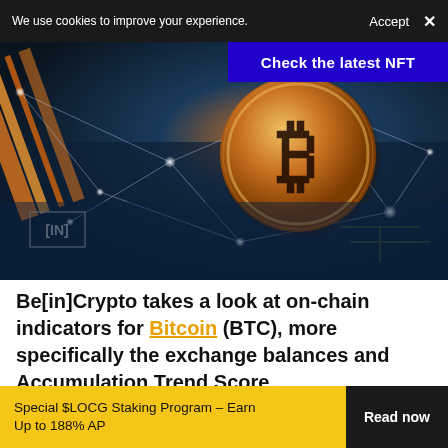We use cookies to improve your experience.  Accept  ×
[Figure (photo): Bitcoin gold coin on a circuit board with glowing network lines, orange and blue tones, with [IN] logo watermark in bottom-left corner]
Check the latest NFT
Be[in]Crypto takes a look at on-chain indicators for Bitcoin (BTC), more specifically the exchange balances and Accumulation Trend Score.
Special $LOCG Staking Program – Earn Up to 188% AP  Read now